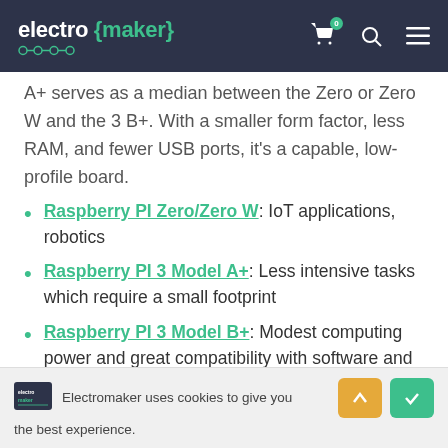electro {maker}
A+ serves as a median between the Zero or Zero W and the 3 B+. With a smaller form factor, less RAM, and fewer USB ports, it's a capable, low-profile board.
Raspberry PI Zero/Zero W: IoT applications, robotics
Raspberry PI 3 Model A+: Less intensive tasks which require a small footprint
Raspberry PI 3 Model B+: Modest computing power and great compatibility with software and
Electromaker uses cookies to give you the best experience.